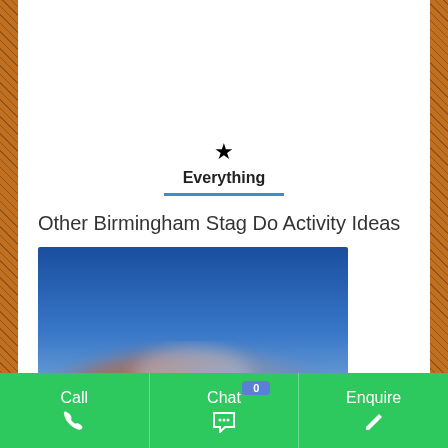[Figure (screenshot): Tab navigation showing 'Everything' tab with star icon and blue underline indicator]
Other Birmingham Stag Do Activity Ideas
[Figure (photo): Blurred outdoor photo with blue sky at top and brownish-pink hues at bottom, likely showing a stag do activity]
Call
Chat
Enquire